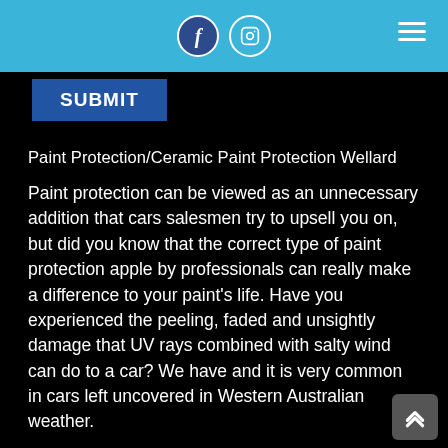Facebook and Instagram social icons, hamburger menu
[Figure (screenshot): SUBMIT button bar on black background]
Paint Protection/Ceramic Paint Protection Wellard
Paint protection can be viewed as an unnecessary addition that cars salesmen try to upsell you on, but did you know that the correct type of paint protection apple by professionals can really make a difference to your paint's life. Have you experienced the peeling, faded and unsightly damage that UV rays combined with salty wind can do to a car? We have and it is very common in cars left uncovered in Western Australian weather.
Our paint protection is applied by professionals, this avoids streaks, stains and damage that can occur if the